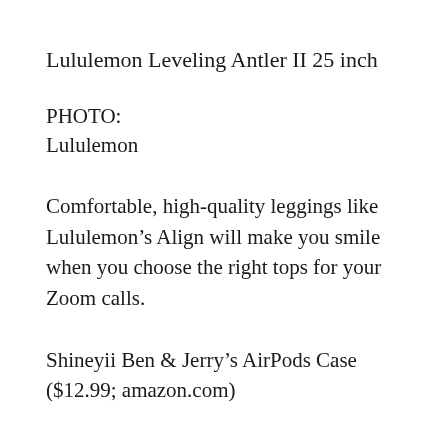Lululemon Leveling Antler II 25 inch
PHOTO:
Lululemon
Comfortable, high-quality leggings like Lululemon’s Align will make you smile when you choose the right tops for your Zoom calls.
Shineyii Ben & Jerry’s AirPods Case ($12.99; amazon.com)